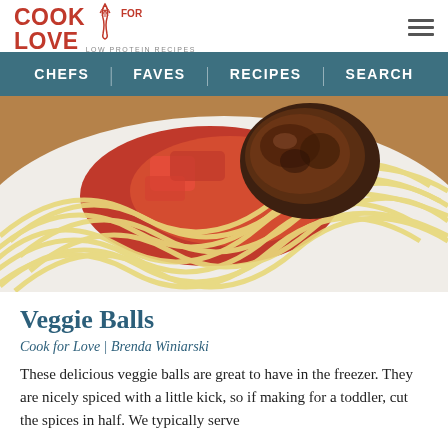Cook for Love — Low Protein Recipes
CHEFS | FAVES | RECIPES | SEARCH
[Figure (photo): Close-up photo of pasta noodles on a white plate topped with a dark-crusted veggie ball and red tomato sauce]
Veggie Balls
Cook for Love | Brenda Winiarski
These delicious veggie balls are great to have in the freezer. They are nicely spiced with a little kick, so if making for a toddler, cut the spices in half. We typically serve